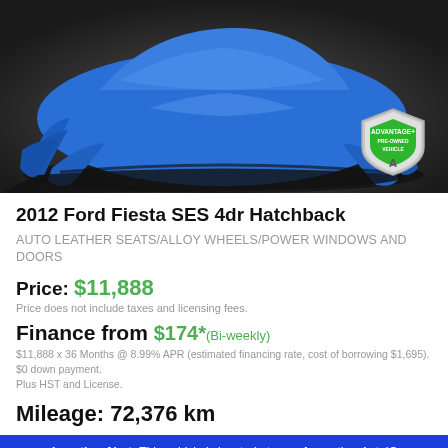[Figure (photo): Car covered with a blue cloth/drape on a dark background, with an Advantage+ Pre-Owned Vehicle shield badge in the bottom right corner.]
2012 Ford Fiesta SES 4dr Hatchback
AUTO LEATHER SEATS/ALLOY WHEELS/POWER WINDOWS AND DOORS
Price: $11,888
Price does not include taxes and licensing fees.
Finance from $174* (Bi-weekly)
$11,888 x 36 Months @ 8.99% APR (estimated financing rate, cost of borrowing $1,695). $0 down payment.
Plus HST and License.
Mileage: 72,376 km
Location Alert: This vehicle is located at one of our other AutoIQ dealerships. Please contact us at (705) 737-2210 to